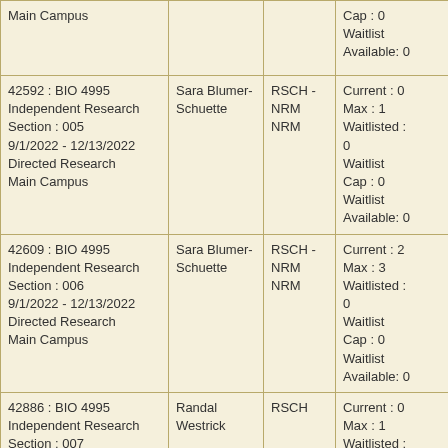| Course | Instructor | Type | Enrollment |
| --- | --- | --- | --- |
| Main Campus |  |  | Cap : 0
Waitlist Available: 0 |
| 42592 : BIO 4995 Independent Research
Section : 005
9/1/2022 - 12/13/2022
Directed Research
Main Campus | Sara Blumer-Schuette | RSCH -
NRM NRM | Current : 0
Max : 1
Waitlisted : 0
Waitlist Cap : 0
Waitlist Available: 0 |
| 42609 : BIO 4995 Independent Research
Section : 006
9/1/2022 - 12/13/2022
Directed Research
Main Campus | Sara Blumer-Schuette | RSCH -
NRM NRM | Current : 2
Max : 3
Waitlisted : 0
Waitlist Cap : 0
Waitlist Available: 0 |
| 42886 : BIO 4995 Independent Research
Section : 007
9/1/2022 - 12/13/2022
Directed Research
Main Campus | Randal Westrick | RSCH | Current : 0
Max : 1
Waitlisted : 0
Waitlist Cap : 0
Waitlist Available: 0 |